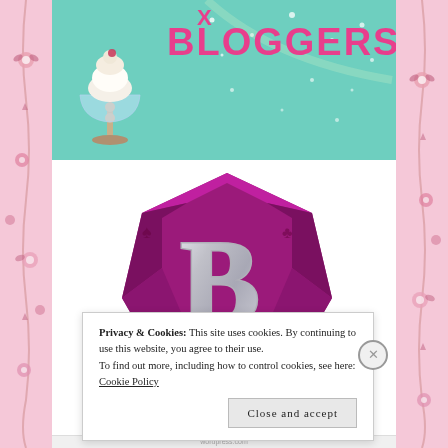[Figure (illustration): Website banner with teal/mint background showing an ice cream sundae glass on the left and 'X BLOGGERS' text in pink bold letters]
[Figure (logo): Blogger logo: large purple/magenta faceted gem/diamond shape with a silver letter B in the center]
Privacy & Cookies: This site uses cookies. By continuing to use this website, you agree to their use.
To find out more, including how to control cookies, see here: Cookie Policy
Close and accept